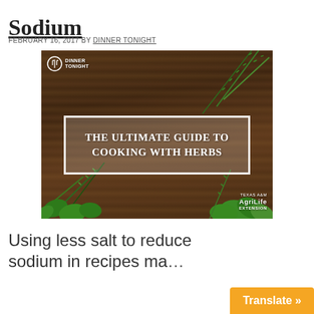Sodium
FEBRUARY 16, 2017 BY DINNER TONIGHT
[Figure (photo): Photo of fresh herbs on a wooden background with a white-bordered box reading 'The Ultimate Guide to Cooking with Herbs', featuring the Dinner Tonight logo and Texas A&M AgriLife Extension logo]
Using less salt to reduce sodium in recipes ma…